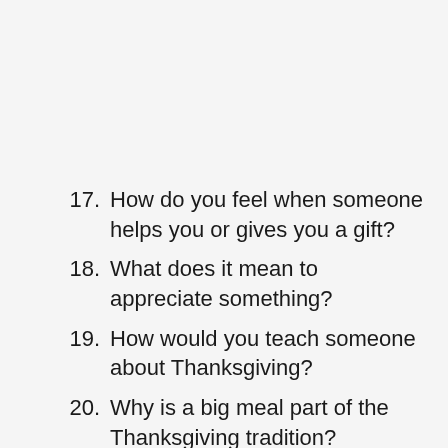17. How do you feel when someone helps you or gives you a gift?
18. What does it mean to appreciate something?
19. How would you teach someone about Thanksgiving?
20. Why is a big meal part of the Thanksgiving tradition?
21. Write a story about a person who isn't thankful. What lessons could he or she learn?